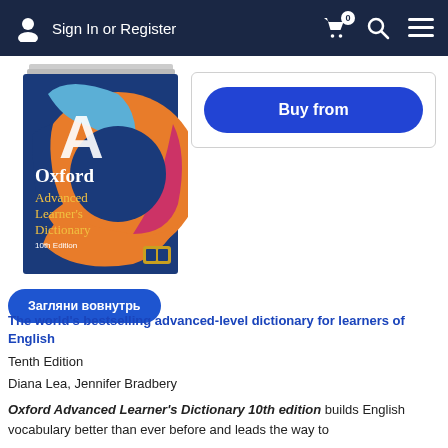Sign In or Register
[Figure (photo): Cover of Oxford Advanced Learner's Dictionary, 10th Edition, showing colorful geometric design with large Oxford logo letter O]
Загляни вовнутрь
Buy from
The world's bestselling advanced-level dictionary for learners of English
Tenth Edition
Diana Lea, Jennifer Bradbery
Oxford Advanced Learner's Dictionary 10th edition builds English vocabulary better than ever before and leads the way to